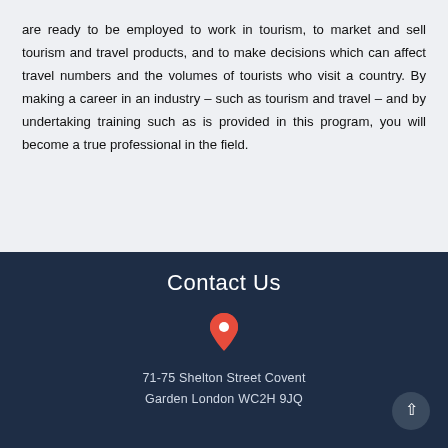are ready to be employed to work in tourism, to market and sell tourism and travel products, and to make decisions which can affect travel numbers and the volumes of tourists who visit a country. By making a career in an industry – such as tourism and travel – and by undertaking training such as is provided in this program, you will become a true professional in the field.
Contact Us
71-75 Shelton Street Covent Garden London WC2H 9JQ